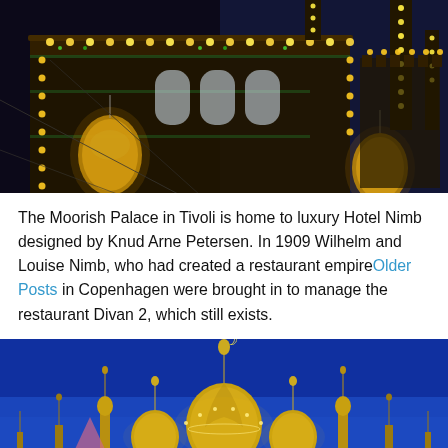[Figure (photo): Night photograph of the Moorish Palace at Tivoli Gardens, illuminated with strings of lights in gold and green along arched facades, minarets with yellow lights, and hanging lanterns against a dark blue sky.]
The Moorish Palace in Tivoli is home to luxury Hotel Nimb designed by Knud Arne Petersen. In 1909 Wilhelm and Louise Nimb, who had created a restaurant empireOlder Posts in Copenhagen were brought in to manage the restaurant Divan 2, which still exists.
[Figure (photo): Night/dusk photograph of illuminated golden onion-shaped domes and minarets of the Tivoli Moorish Palace against a deep blue sky, with a crescent moon symbol visible at the top of the central spire.]